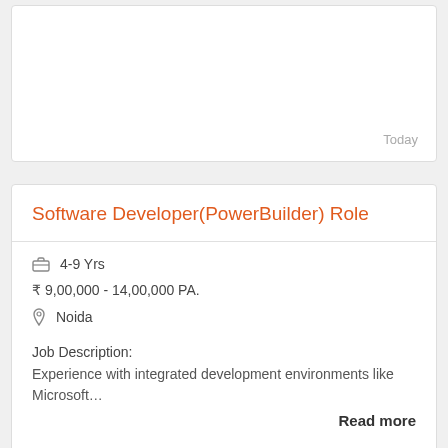Today
Software Developer(PowerBuilder) Role
4-9 Yrs
₹ 9,00,000 - 14,00,000 PA.
Noida
Job Description:
Experience with integrated development environments like Microsoft...
Read more
7 Days Ago